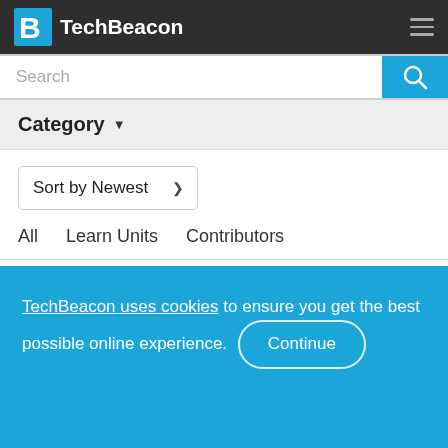TechBeacon
Category
Sort by Newest
All
Learn Units
Contributors
TechBeacon uses cookies to ensure you get the best possible online experience. Continue